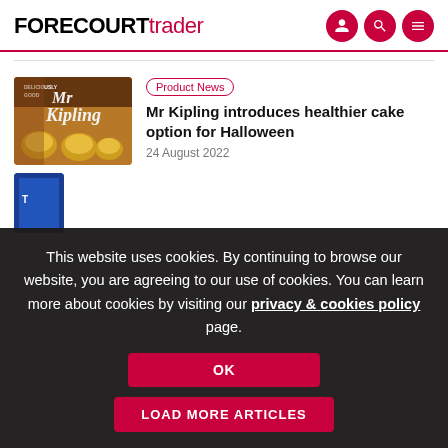FORECOURTtrader
Product News
Mr Kipling introduces healthier cake option for Halloween
24 August 2022
This website uses cookies. By continuing to browse our website, you are agreeing to our use of cookies. You can learn more about cookies by visiting our privacy & cookies policy page.